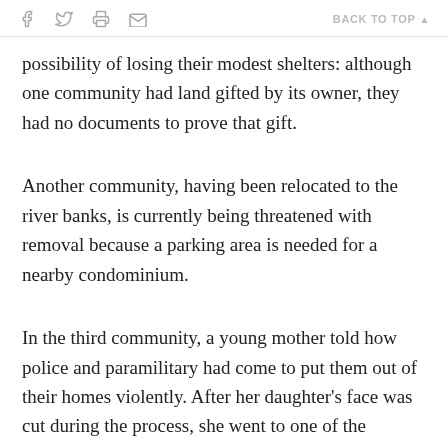f  [twitter]  [print]  [mail]   BACK TO TOP ▲
possibility of losing their modest shelters: although one community had land gifted by its owner, they had no documents to prove that gift.
Another community, having been relocated to the river banks, is currently being threatened with removal because a parking area is needed for a nearby condominium.
In the third community, a young mother told how police and paramilitary had come to put them out of their homes violently. After her daughter's face was cut during the process, she went to one of the community's exit areas and found machinery ready to destroy their homes. She climbed on the machine